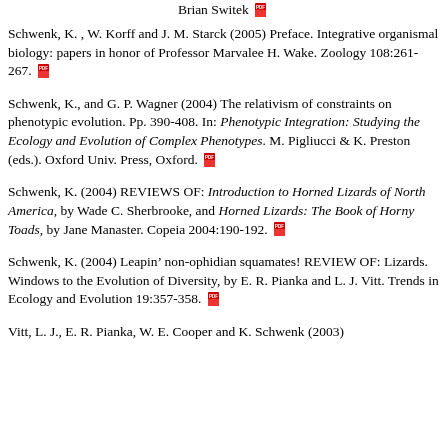Brian Switek
Schwenk, K. , W. Korff and J. M. Starck (2005) Preface. Integrative organismal biology: papers in honor of Professor Marvalee H. Wake. Zoology 108:261-267.
Schwenk, K., and G. P. Wagner (2004) The relativism of constraints on phenotypic evolution. Pp. 390-408. In: Phenotypic Integration: Studying the Ecology and Evolution of Complex Phenotypes. M. Pigliucci & K. Preston (eds.). Oxford Univ. Press, Oxford.
Schwenk, K. (2004) REVIEWS OF: Introduction to Horned Lizards of North America, by Wade C. Sherbrooke, and Horned Lizards: The Book of Horny Toads, by Jane Manaster. Copeia 2004:190-192.
Schwenk, K. (2004) Leapin’ non-ophidian squamates! REVIEW OF: Lizards. Windows to the Evolution of Diversity, by E. R. Pianka and L. J. Vitt. Trends in Ecology and Evolution 19:357-358.
Vitt, L. J., E. R. Pianka, W. E. Cooper and K. Schwenk (2003)